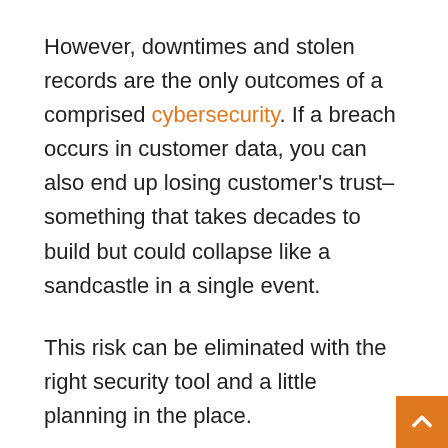However, downtimes and stolen records are the only outcomes of a comprised cybersecurity. If a breach occurs in customer data, you can also end up losing customer's trust–something that takes decades to build but could collapse like a sandcastle in a single event.
This risk can be eliminated with the right security tool and a little planning in the place.
Taking Important Measures:
As business moves from papers to computers, new security challenges have popped up for them. An effective and thoughtful cybersecurity service has t